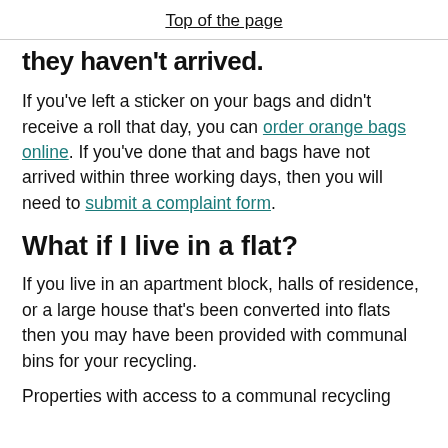Top of the page
they haven't arrived.
If you've left a sticker on your bags and didn't receive a roll that day, you can order orange bags online. If you've done that and bags have not arrived within three working days, then you will need to submit a complaint form.
What if I live in a flat?
If you live in an apartment block, halls of residence, or a large house that's been converted into flats then you may have been provided with communal bins for your recycling.
Properties with access to a communal recycling